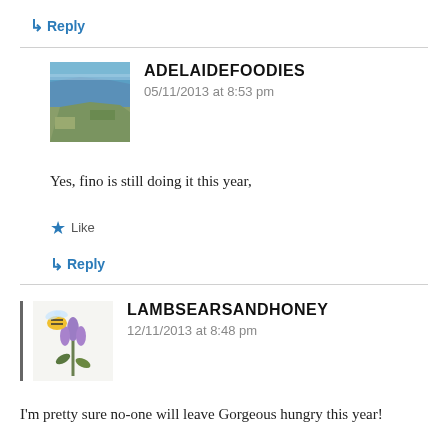↳ Reply
ADELAIDEFOODIES
05/11/2013 at 8:53 pm
Yes, fino is still doing it this year,
★ Like
↳ Reply
LAMBSEARSANDHONEY
12/11/2013 at 8:48 pm
I'm pretty sure no-one will leave Gorgeous hungry this year!